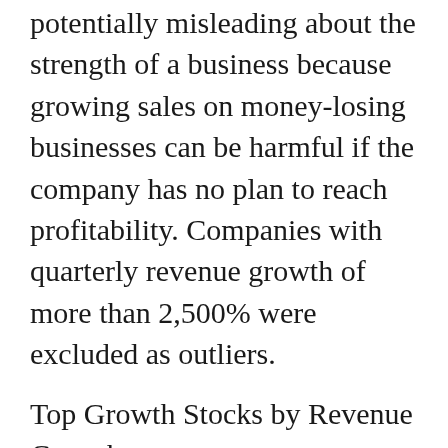potentially misleading about the strength of a business because growing sales on money-losing businesses can be harmful if the company has no plan to reach profitability. Companies with quarterly revenue growth of more than 2,500% were excluded as outliers.
Top Growth Stocks by Revenue Growth
| Price ($) | Market Cap ($B) | Revenue Growth (%) |
| --- | --- | --- |
| Upstart Holdings Inc. (UPST) |  |  |
| 94.20 | 7.7 | 262.5 |